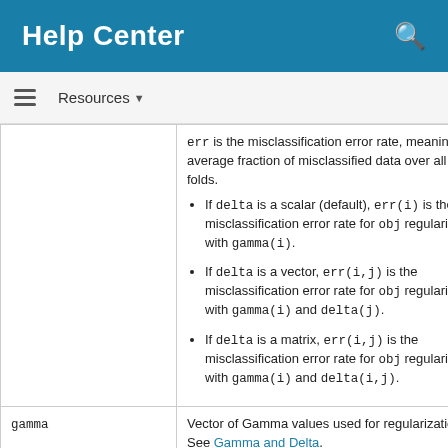Help Center
Resources ▼
|  |  |
| --- | --- |
|  | err is the misclassification error rate, meaning the average fraction of misclassified data over all folds.
• If delta is a scalar (default), err(i) is the misclassification error rate for obj regularized with gamma(i).
• If delta is a vector, err(i,j) is the misclassification error rate for obj regularized with gamma(i) and delta(j).
• If delta is a matrix, err(i,j) is the misclassification error rate for obj regularized with gamma(i) and delta(i,j). |
| gamma | Vector of Gamma values used for regularization. See Gamma and Delta. |
| delta | Vector or matrix of Delta values used |